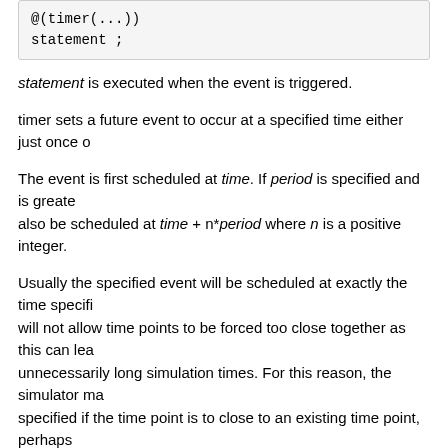@(timer(...))
statement ;
statement is executed when the event is triggered.
timer sets a future event to occur at a specified time either just once o...
The event is first scheduled at time. If period is specified and is greate... also be scheduled at time + n*period where n is a positive integer.
Usually the specified event will be scheduled at exactly the time specifi... will not allow time points to be forced too close together as this can lea... unnecessarily long simulation times. For this reason, the simulator ma... specified if the time point is to close to an existing time point, perhaps ... argument controls the tolerance of the event time. The simulator will al... within time_tol of the requested time. If time_tol is not specified the ev... requested time but not more than the amount specified by the MINBR...
See Also
cross
transition